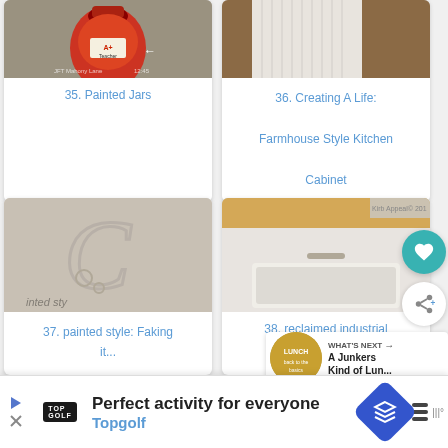[Figure (photo): Card 35: Painted apple jar with A+ Teacher label on decorative background]
35. Painted Jars
[Figure (photo): Card 36: White curtain or cabinet panel with wood background]
36. Creating A Life: Farmhouse Style Kitchen Cabinet
[Figure (photo): Card 37: Embossed decorative letter C on fabric/canvas with text 'inted sty']
37. painted style: Faking it...
[Figure (photo): Card 38: Reclaimed industrial kitchen sink/counter, Kirb Appeal watermark]
38. reclaimed industrial
[Figure (photo): Card 39: Partial view of a wood/moss craft item]
[Figure (photo): Card 40: Painted round item on wooden fence background]
[Figure (other): What's Next promo: A Junkers Kind of Lunch thumbnail]
WHAT'S NEXT → A Junkers Kind of Lun...
[Figure (other): Advertisement: Topgolf - Perfect activity for everyone]